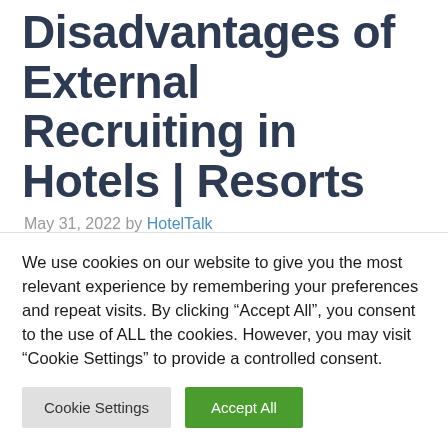Disadvantages of External Recruiting in Hotels | Resorts
May 31, 2022 by HotelTalk
Advantages of External
External Recruiting brings new blood and
We use cookies on our website to give you the most relevant experience by remembering your preferences and repeat visits. By clicking “Accept All”, you consent to the use of ALL the cookies. However, you may visit "Cookie Settings" to provide a controlled consent.